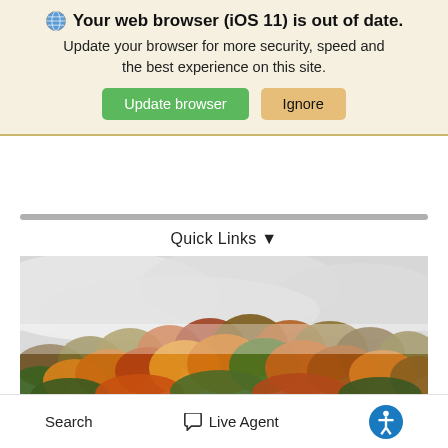Your web browser (iOS 11) is out of date.
Update your browser for more security, speed and the best experience on this site.
Update browser   Ignore
Quick Links ▾
[Figure (photo): Autumn forest hillside with colorful foliage and low clouds/mist above the treetops]
Search   Live Agent   [Accessibility icon]